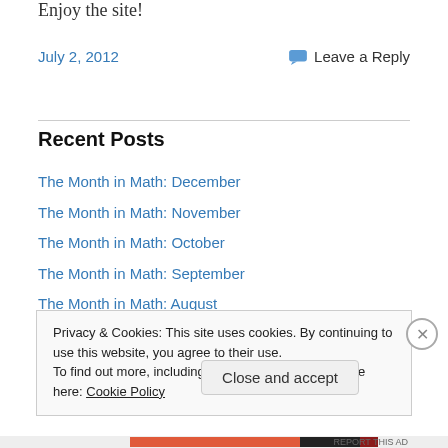Enjoy the site!
July 2, 2012
Leave a Reply
Recent Posts
The Month in Math: December
The Month in Math: November
The Month in Math: October
The Month in Math: September
The Month in Math: August
Privacy & Cookies: This site uses cookies. By continuing to use this website, you agree to their use. To find out more, including how to control cookies, see here: Cookie Policy
Close and accept